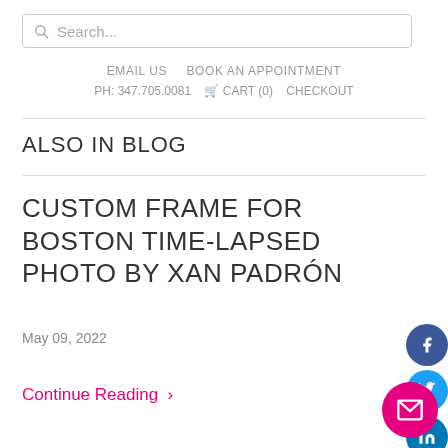Search...
EMAIL US   BOOK AN APPOINTMENT   PH: 347.705.0081   CART (0)   CHECKOUT
ALSO IN BLOG
CUSTOM FRAME FOR BOSTON TIME-LAPSED PHOTO BY XAN PADRÓN
May 09, 2022
Continue Reading >